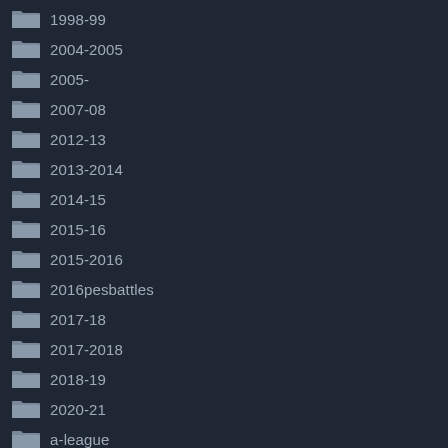1998-99
2004-2005
2005-
2007-08
2012-13
2013-2014
2014-15
2015-16
2015-2016
2016pesbattles
2017-18
2017-2018
2018-19
2020-21
a-league
aaron
abby
adidas